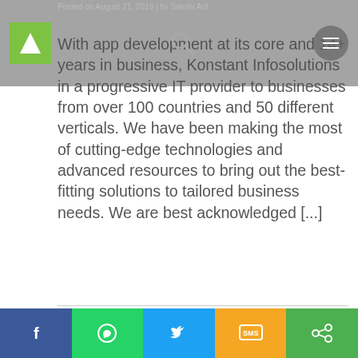Posted on August 21, 2019 | by Sakshi Aol
With app development at its core and 14+ years in business, Konstant Infosolutions in a progressive IT provider to businesses from over 100 countries and 50 different verticals. We have been making the most of cutting-edge technologies and advanced resources to bring out the best-fitting solutions to tailored business needs. We are best acknowledged [...]
[Figure (photo): A man in a dark jacket standing in front of a wall displaying 'THE VIEW FROM THE SHARD' text. Website screenshot with social share bar at bottom.]
Facebook | WhatsApp | Twitter | SMS | Share